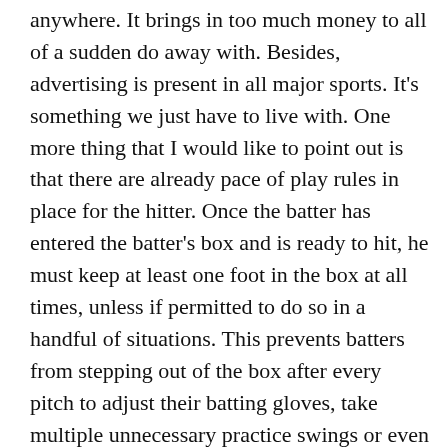anywhere. It brings in too much money to all of a sudden do away with. Besides, advertising is present in all major sports. It's something we just have to live with. One more thing that I would like to point out is that there are already pace of play rules in place for the hitter. Once the batter has entered the batter's box and is ready to hit, he must keep at least one foot in the box at all times, unless if permitted to do so in a handful of situations. This prevents batters from stepping out of the box after every pitch to adjust their batting gloves, take multiple unnecessary practice swings or even put some more chewing gum in their mouth. This rule has been in place since the 2015 season, and I would say that the veteran MLB hitters have successfully adjusted. Not to mention that like the pitch clock rule, this was tested in the minor leagues first, and with this they did not assume that everyone from the minors would just continue it in the majors, they made sure of it.